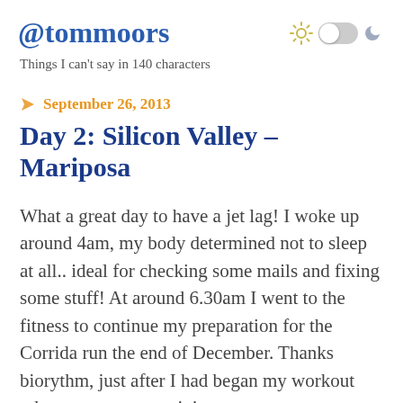@tommoors
Things I can't say in 140 characters
September 26, 2013
Day 2: Silicon Valley – Mariposa
What a great day to have a jet lag! I woke up around 4am, my body determined not to sleep at all.. ideal for checking some mails and fixing some stuff! At around 6.30am I went to the fitness to continue my preparation for the Corrida run the end of December. Thanks biorythm, just after I had began my workout other guests were arriving